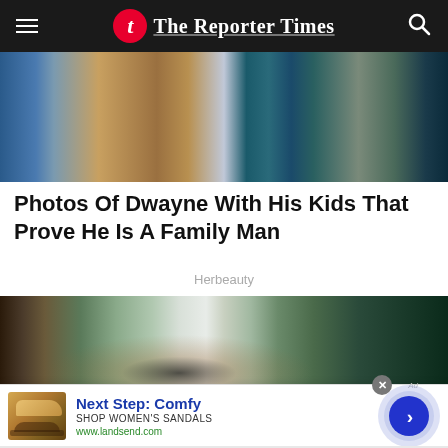The Reporter Times
[Figure (photo): Close-up photo of a person with tattoos and a cross necklace]
Photos Of Dwayne With His Kids That Prove He Is A Family Man
Herbeauty
[Figure (photo): Woman in athletic wear in a corridor with green pillars]
Next Step: Comfy
SHOP WOMEN'S SANDALS
www.landsend.com